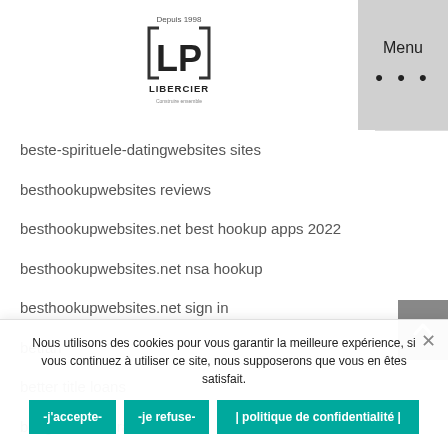[Figure (logo): LP Libercier logo with 'Depuis 1998' text at top and brackets around LP letters]
Menu
beste-spirituele-datingwebsites sites
besthookupwebsites reviews
besthookupwebsites.net best hookup apps 2022
besthookupwebsites.net nsa hookup
besthookupwebsites.net sign in
betfan
better title loans
bezglutenowe randki
bgclive nl
bgclive reviews
Nous utilisons des cookies pour vous garantir la meilleure expérience, si vous continuez à utiliser ce site, nous supposerons que vous en êtes satisfait.
-j'accepte-
-je refuse-
| politique de confidentialité |